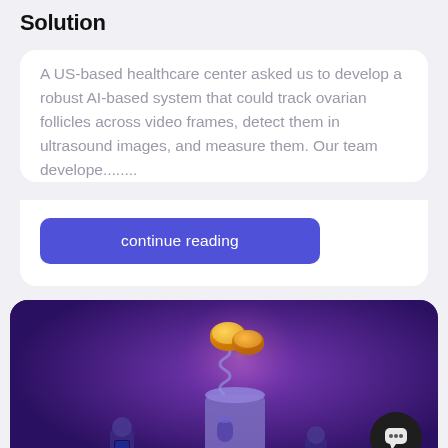Solution
A US-based healthcare center asked us to develop a robust AI-based system that could track ovarian follicles across video frames, detect them in ultrasound images, and measure them. Our team develope.........
continue reading
[Figure (illustration): 3D rendered illustration on a purple/dark background showing stylized coin/money elements emerging from a cylindrical container, with small character figures and a chat bubble icon in the bottom right corner.]